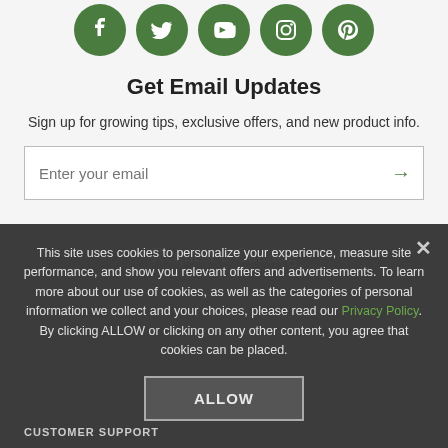[Figure (illustration): Five green circular social media icons: Facebook, Twitter, YouTube, Instagram, Pinterest]
Get Email Updates
Sign up for growing tips, exclusive offers, and new product info.
Enter your email [input field with green arrow]
Request a Catalog
This site uses cookies to personalize your experience, measure site performance, and show you relevant offers and advertisements. To learn more about our use of cookies, as well as the categories of personal information we collect and your choices, please read our Privacy Policy. By clicking ALLOW or clicking on any other content, you agree that cookies can be placed.
ALLOW
CUSTOMER SUPPORT
Contact Us